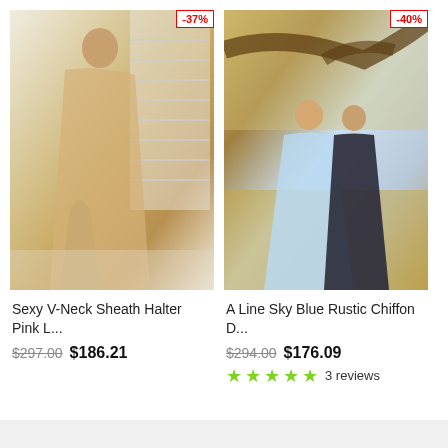[Figure (photo): Woman wearing a sequined pink/champagne halter V-neck sheath gown with high slit, standing indoors near window blinds. Red discount badge showing -37% in top-right corner.]
Sexy V-Neck Sheath Halter Pink L...
$297.00 $186.21
[Figure (photo): Couple embracing outdoors under a tree, woman wearing a sky blue flowing chiffon A-line gown with ruffled layers, man in dark suit. Red discount badge showing -40% in top-right corner.]
A Line Sky Blue Rustic Chiffon D...
$294.00 $176.09
3 reviews